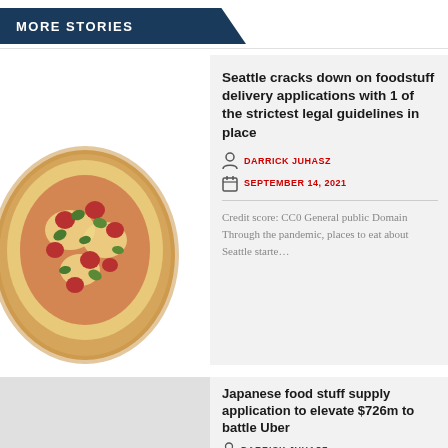MORE STORIES
[Figure (photo): A pepperoni and jalapeño pizza with golden crust on a white background]
Seattle cracks down on foodstuff delivery applications with 1 of the strictest legal guidelines in place
DARRICK JUHASZ
SEPTEMBER 14, 2021
Credit score: CC0 General public Domain Through the pandemic, places to eat about Seattle starte…
[Figure (photo): Thumbnail placeholder for second story]
Japanese food stuff supply application to elevate $726m to battle Uber
DARRICK JUHASZ
SEPTEMBER 10, 2021